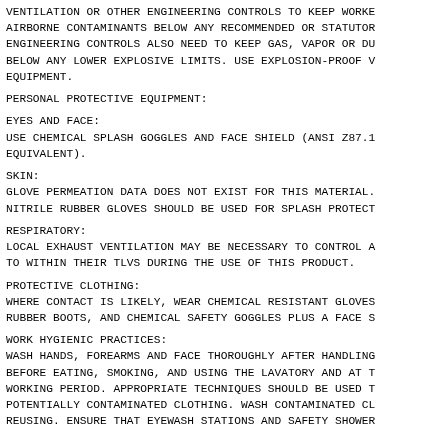VENTILATION OR OTHER ENGINEERING CONTROLS TO KEEP WORKER AIRBORNE CONTAMINANTS BELOW ANY RECOMMENDED OR STATUTORY ENGINEERING CONTROLS ALSO NEED TO KEEP GAS, VAPOR OR DU BELOW ANY LOWER EXPLOSIVE LIMITS. USE EXPLOSION-PROOF V EQUIPMENT.
PERSONAL PROTECTIVE EQUIPMENT:
EYES AND FACE:
USE CHEMICAL SPLASH GOGGLES AND FACE SHIELD (ANSI Z87.1 EQUIVALENT).
SKIN:
GLOVE PERMEATION DATA DOES NOT EXIST FOR THIS MATERIAL. NITRILE RUBBER GLOVES SHOULD BE USED FOR SPLASH PROTECT
RESPIRATORY:
LOCAL EXHAUST VENTILATION MAY BE NECESSARY TO CONTROL A TO WITHIN THEIR TLVS DURING THE USE OF THIS PRODUCT.
PROTECTIVE CLOTHING:
WHERE CONTACT IS LIKELY, WEAR CHEMICAL RESISTANT GLOVES RUBBER BOOTS, AND CHEMICAL SAFETY GOGGLES PLUS A FACE S
WORK HYGIENIC PRACTICES:
WASH HANDS, FOREARMS AND FACE THOROUGHLY AFTER HANDLING BEFORE EATING, SMOKING, AND USING THE LAVATORY AND AT T WORKING PERIOD. APPROPRIATE TECHNIQUES SHOULD BE USED T POTENTIALLY CONTAMINATED CLOTHING. WASH CONTAMINATED CL REUSING. ENSURE THAT EYEWASH STATIONS AND SAFETY SHOWER